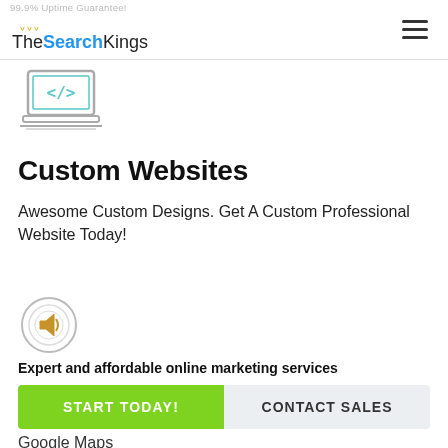99.9% Uptime Guarantee! TheSearchKings
[Figure (illustration): Laptop icon with HTML code brackets on screen, line-art style]
Custom Websites
Awesome Custom Designs. Get A Custom Professional Website Today!
[Figure (illustration): Megaphone/speaker icon inside concentric circles]
Expert and affordable online marketing services
Start Today!
Contact Sales
Google Maps